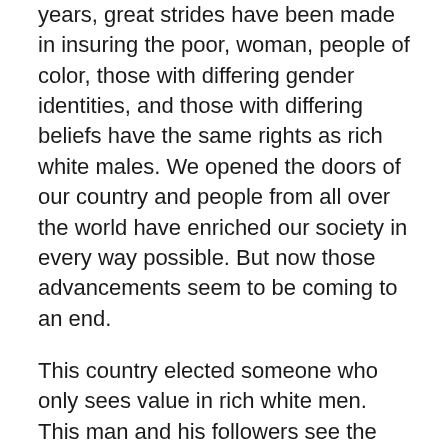years, great strides have been made in insuring the poor, woman, people of color, those with differing gender identities, and those with differing beliefs have the same rights as rich white males. We opened the doors of our country and people from all over the world have enriched our society in every way possible. But now those advancements seem to be coming to an end.
This country elected someone who only sees value in rich white men. This man and his followers see the population of the U.S. as a means to an end, an end that fills their pockets. To accomplish their purpose, they duped other white men into believing they too can be 'rich' knowing that what they will do while in office will prevent anyone but themselves from succeeding. They have done it by demonizing the poor, people of color, women, those of differing beliefs, and those with differing gender identities in order to hide their true intent, to make themselves wealthy and more powerful. They don't have the interest